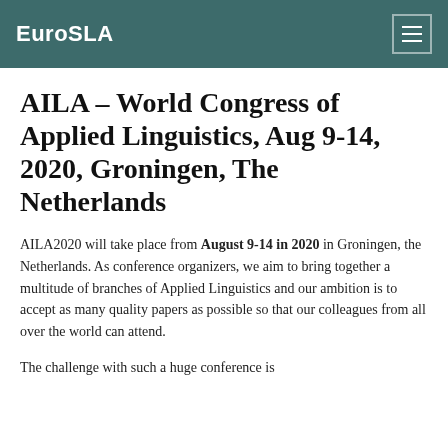EuroSLA
AILA – World Congress of Applied Linguistics, Aug 9-14, 2020, Groningen, The Netherlands
AILA2020 will take place from August 9-14 in 2020 in Groningen, the Netherlands. As conference organizers, we aim to bring together a multitude of branches of Applied Linguistics and our ambition is to accept as many quality papers as possible so that our colleagues from all over the world can attend.
The challenge with such a huge conference is